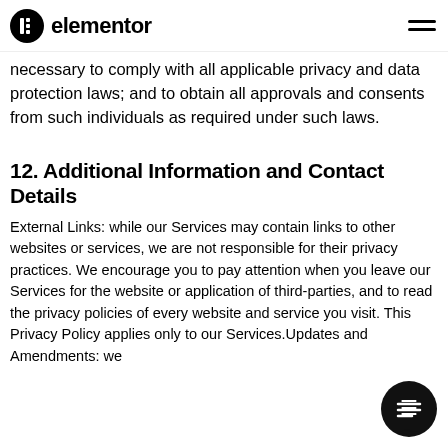elementor
necessary to comply with all applicable privacy and data protection laws; and to obtain all approvals and consents from such individuals as required under such laws.
12. Additional Information and Contact Details
External Links: while our Services may contain links to other websites or services, we are not responsible for their privacy practices. We encourage you to pay attention when you leave our Services for the website or application of third-parties, and to read the privacy policies of every website and service you visit. This Privacy Policy applies only to our Services.Updates and Amendments: we